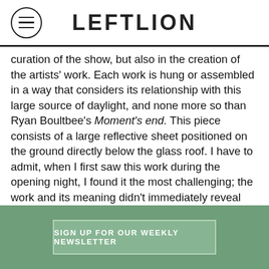LEFTLION
curation of the show, but also in the creation of the artists' work. Each work is hung or assembled in a way that considers its relationship with this large source of daylight, and none more so than Ryan Boultbee's Moment's end. This piece consists of a large reflective sheet positioned on the ground directly below the glass roof. I have to admit, when I first saw this work during the opening night, I found it the most challenging; the work and its meaning didn't immediately reveal itself to me and I struggled to make sense of why this large reflective sheet was in the centre of the exhibition floor. Nevertheless, I continued to ask questions of the work and as I did so, I realised that this piece itself was mirroring the light, or rather lack of it, from the glass roof above. I realised that Boultbee, whose work frequently challen...
SIGN UP FOR OUR WEEKLY NEWSLETTER